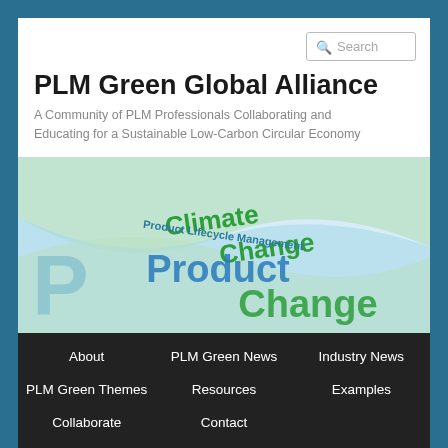Search
PLM Green Global Alliance
A Community of PLM Professionals Collaborating and Educating for a Sustainable Low-Carbon Circular Economy
[Figure (illustration): Banner image with overlapping text: 'Climate Change' in green and 'Product Lifecycle Management' in teal/blue, on a light blue and green background with wave shapes.]
About
PLM Green News
Industry News
PLM Green Themes
Resources
Examples
Collaborate
Contact